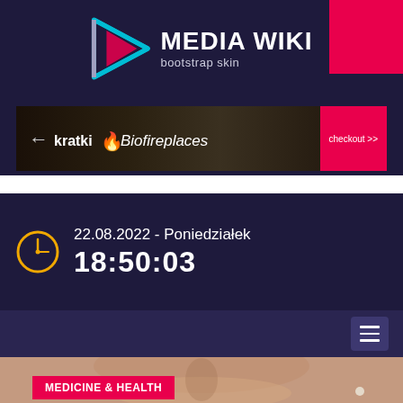[Figure (logo): Media Wiki bootstrap skin logo with geometric play-button shape in cyan and pink, white bold text MEDIA WIKI and subtitle bootstrap skin]
[Figure (screenshot): Advertisement banner for kratki Biofireplaces with dark fireplace background and red checkout button]
22.08.2022 - Poniedziałek
18:50:03
[Figure (illustration): Hamburger menu icon button in purple]
[Figure (photo): Close-up photo of a woman's face showing nose and lips, with pearl earring]
MEDICINE & HEALTH